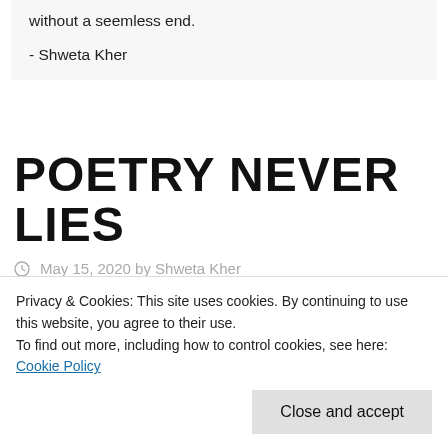without a seemless end.
- Shweta Kher
POETRY NEVER LIES
May 15, 2020 by Shweta Kher
Privacy & Cookies: This site uses cookies. By continuing to use this website, you agree to their use.
To find out more, including how to control cookies, see here: Cookie Policy
Close and accept